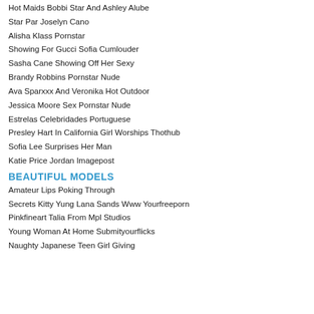Hot Maids Bobbi Star And Ashley Alube
Star Par Joselyn Cano
Alisha Klass Pornstar
Showing For Gucci Sofia Cumlouder
Sasha Cane Showing Off Her Sexy
Brandy Robbins Pornstar Nude
Ava Sparxxx And Veronika Hot Outdoor
Jessica Moore Sex Pornstar Nude
Estrelas Celebridades Portuguese
Presley Hart In California Girl Worships Thothub
Sofia Lee Surprises Her Man
Katie Price Jordan Imagepost
BEAUTIFUL MODELS
Amateur Lips Poking Through
Secrets Kitty Yung Lana Sands Www Yourfreeporn
Pinkfineart Talia From Mpl Studios
Young Woman At Home Submityourflicks
Naughty Japanese Teen Girl Giving